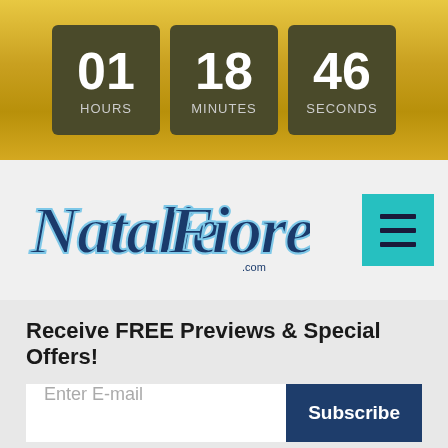[Figure (other): Countdown timer showing 01 HOURS, 18 MINUTES, 46 SECONDS on a gold gradient banner background]
[Figure (logo): Natalie Fiore .com logo in cursive blue/navy script with teal menu hamburger button]
Receive FREE Previews & Special Offers!
Enter E-mail
Subscribe
We will not spam, sell, or trade your email.
Home
Site Map
Videos
Porn Sites
Photos
Big Boobs DVDs
Bundle Sites
RSS Feed
Join Now
Modeling Jobs